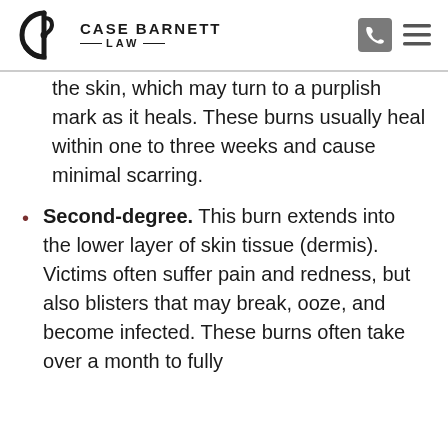Case Barnett Law
the skin, which may turn to a purplish mark as it heals. These burns usually heal within one to three weeks and cause minimal scarring.
Second-degree. This burn extends into the lower layer of skin tissue (dermis). Victims often suffer pain and redness, but also blisters that may break, ooze, and become infected. These burns often take over a month to fully